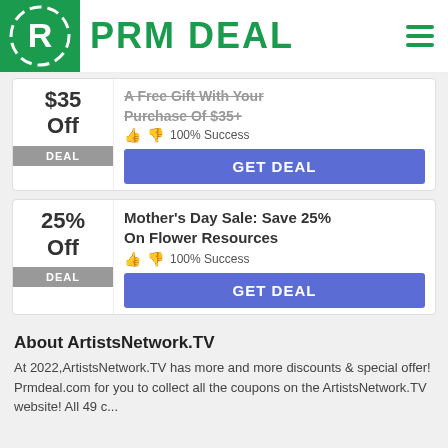PRM DEAL
$35 Off
DEAL
A Free Gift With Your Purchase Of $35+
100% Success
GET DEAL
25% Off
DEAL
Mother's Day Sale: Save 25% On Flower Resources
100% Success
GET DEAL
About ArtistsNetwork.TV
At 2022,ArtistsNetwork.TV has more and more discounts & special offer! Prmdeal.com for you to collect all the coupons on the ArtistsNetwork.TV website! All 49 c...